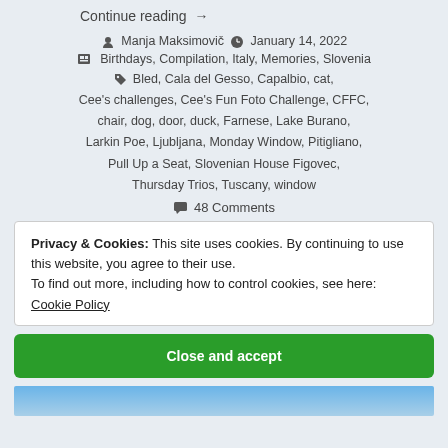Continue reading →
Manja Maksimovič  January 14, 2022
Birthdays, Compilation, Italy, Memories, Slovenia
Bled, Cala del Gesso, Capalbio, cat, Cee's challenges, Cee's Fun Foto Challenge, CFFC, chair, dog, door, duck, Farnese, Lake Burano, Larkin Poe, Ljubljana, Monday Window, Pitigliano, Pull Up a Seat, Slovenian House Figovec, Thursday Trios, Tuscany, window
48 Comments
Privacy & Cookies: This site uses cookies. By continuing to use this website, you agree to their use. To find out more, including how to control cookies, see here: Cookie Policy
Close and accept
[Figure (photo): Bottom partial image showing sky/clouds, blue tones]